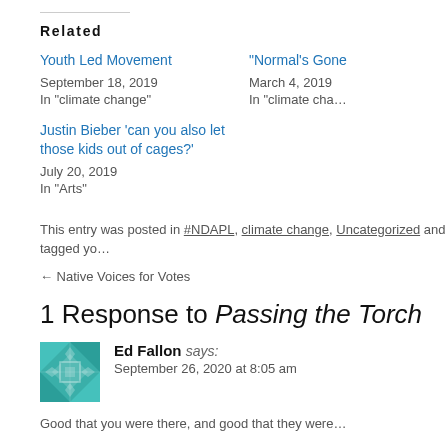Related
Youth Led Movement
September 18, 2019
In "climate change"
"Normal's Gone
March 4, 2019
In "climate cha…"
Justin Bieber 'can you also let those kids out of cages?'
July 20, 2019
In "Arts"
This entry was posted in #NDAPL, climate change, Uncategorized and tagged yo…
← Native Voices for Votes
1 Response to Passing the Torch
Ed Fallon says:
September 26, 2020 at 8:05 am
Good that you were there, and good that they were…